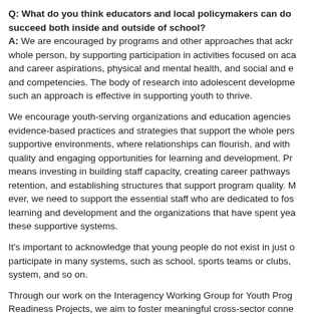Q: What do you think educators and local policymakers can do to help youth succeed both inside and outside of school? A: We are encouraged by programs and other approaches that acknowledge the whole person, by supporting participation in activities focused on academic and career aspirations, physical and mental health, and social and emotional skills and competencies. The body of research into adolescent development shows that such an approach is effective in supporting youth to thrive.
We encourage youth-serving organizations and education agencies to implement evidence-based practices and strategies that support the whole person in supportive environments, where relationships can flourish, and with access to quality and engaging opportunities for learning and development. Providing this means investing in building staff capacity, creating career pathways to support retention, and establishing structures that support program quality. More than ever, we need to support the essential staff who are dedicated to fostering learning and development and the organizations that have spent years building these supportive systems.
It's important to acknowledge that young people do not exist in just one system; they participate in many systems, such as school, sports teams or clubs, the juvenile justice system, and so on.
Through our work on the Interagency Working Group for Youth Programs and Readiness Projects, we aim to foster meaningful cross-sector connections...